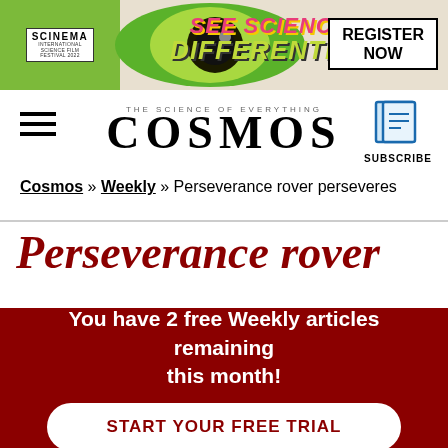[Figure (illustration): SCINEMA International Science Film Festival banner advertisement with green eye graphic, 'SEE SCIENCE DIFFERENTLY!' tagline in colorful text, and a 'REGISTER NOW' button on the right.]
THE SCIENCE OF EVERYTHING
COSMOS
SUBSCRIBE
Cosmos » Weekly » Perseverance rover perseveres
Perseverance rover
You have 2 free Weekly articles remaining this month!
START YOUR FREE TRIAL